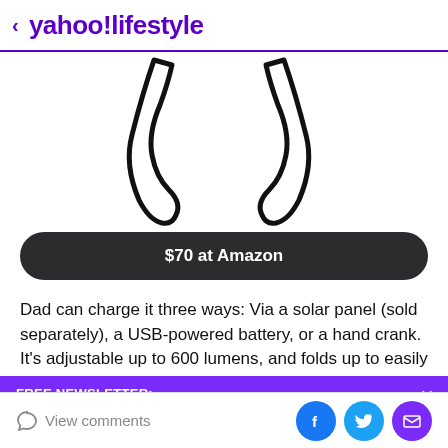< yahoo!lifestyle
[Figure (illustration): Partial product image showing the bottom legs/feet of a lamp or lantern device against a white background]
$70 at Amazon
Dad can charge it three ways: Via a solar panel (sold separately), a USB-powered battery, or a hand crank. It's adjustable up to 600 lumens, and folds up to easily fit
FREE NEWSLETTER:
From MAFS, royals, health and hacks... Sign up here and never miss a thing!
View comments